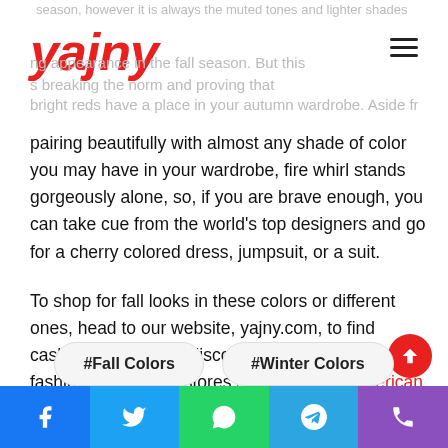yajny
season, however it is always the muted tones and lighter shades that make an appearance in the fall season. But this is breaking the norm and proving that bright reds have a place in your autumn wardrobe. Aside from pairing beautifully with almost any shade of color you may have in your wardrobe, fire whirl stands gorgeously alone, so, if you are brave enough, you can take cue from the world's top designers and go for a cherry colored dress, jumpsuit, or a suit.
To shop for fall looks in these colors or different ones, head to our website, yajny.com, to find cashback deals and discount coupons from top fashion brands and stores such as H&M, American Eagle, 6th Street, Namshi, Ounass, Modanisa, Berrylook, Amazon, and more.